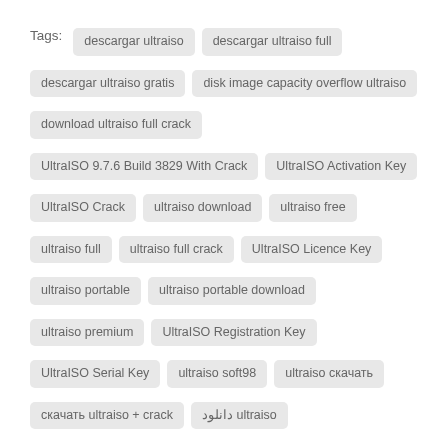Tags: descargar ultraiso | descargar ultraiso full | descargar ultraiso gratis | disk image capacity overflow ultraiso | download ultraiso full crack | UltraISO 9.7.6 Build 3829 With Crack | UltraISO Activation Key | UltraISO Crack | ultraiso download | ultraiso free | ultraiso full | ultraiso full crack | UltraISO Licence Key | ultraiso portable | ultraiso portable download | ultraiso premium | UltraISO Registration Key | UltraISO Serial Key | ultraiso soft98 | ultraiso скачать | скачать ultraiso + crack | دانلود ultraiso